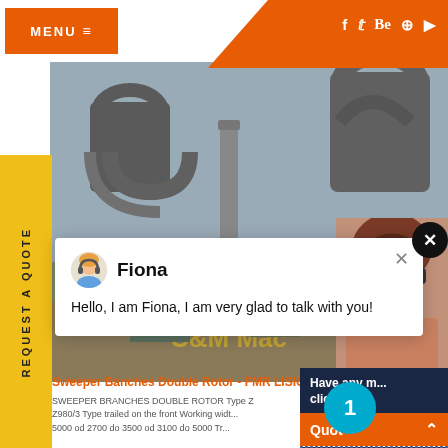MENU
[Figure (screenshot): Industrial machinery / equipment site hero image showing large metal industrial equipment against a grey sky, with C&M Mac branding visible at bottom]
REQUEST A QUOTE
[Figure (photo): Chat popup with avatar of Fiona (support agent), showing message: Hello, I am Fiona, I am very glad to talk with you!]
Fiona
Hello, I am Fiona, I am very glad to talk with you!
Have any m... click here.
Quot
Enquiry
drobilkalm
Sweeper Banches Double Rotor - FMR LISICKI
SWEEPER BRANCHES DOUBLE ROTOR Type Z
Z980/3 Type trailed on the front Working widt
5000 od 2700 do 3500 od 3100 do 5000 Tr